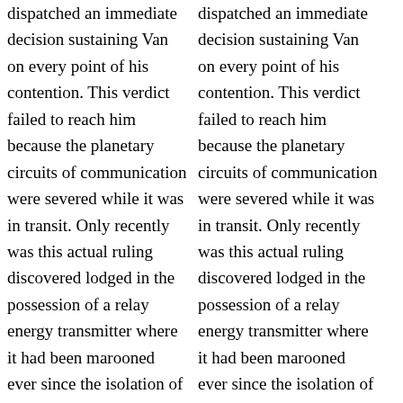dispatched an immediate decision sustaining Van on every point of his contention. This verdict failed to reach him because the planetary circuits of communication were severed while it was in transit. Only recently was this actual ruling discovered lodged in the possession of a relay energy transmitter where it had been marooned ever since the isolation of Urantia. Without this discovery, made as the result of the investigations of the Urantia midwayers, the release of this decision would have awaited the restoration of
dispatched an immediate decision sustaining Van on every point of his contention. This verdict failed to reach him because the planetary circuits of communication were severed while it was in transit. Only recently was this actual ruling discovered lodged in the possession of a relay energy transmitter where it had been marooned ever since the isolation of Urantia. Without this discovery, made as the result of the investigations of the Urantia midwayers, the release of this decision would have awaited the restoration of